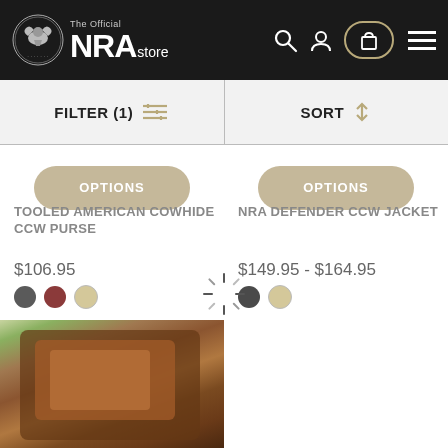[Figure (screenshot): NRA Store website header with logo, search, profile, cart and hamburger menu icons on dark background]
FILTER (1)  SORT
OPTIONS
OPTIONS
TOOLED AMERICAN COWHIDE CCW PURSE
NRA DEFENDER CCW JACKET
$106.95
$149.95 - $164.95
[Figure (photo): Brown leather CCW purse/bag product photo with outdoor background]